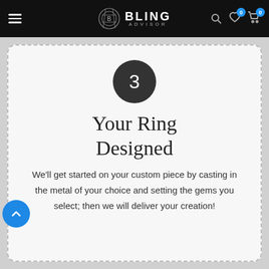BLING ADVISOR
[Figure (illustration): Step 3 card with a dark circle containing '3', handwritten-style title 'Your Ring Designed', and descriptive body text. Includes a blue back-to-top arrow button on the left.]
Your Ring Designed
We'll get started on your custom piece by casting in the metal of your choice and setting the gems you select; then we will deliver your creation!